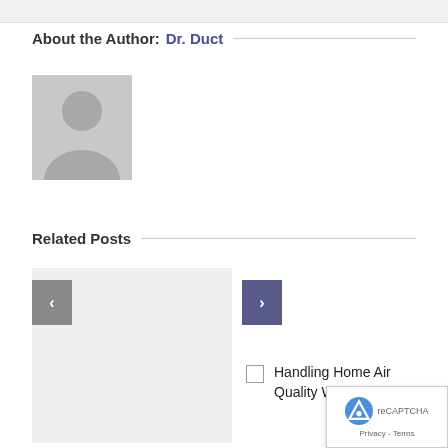About the Author: Dr. Duct
[Figure (illustration): Generic user avatar silhouette on gray background]
Related Posts
[Figure (photo): Light gray placeholder thumbnail for a related post]
Handling Home Air Quality With Pets